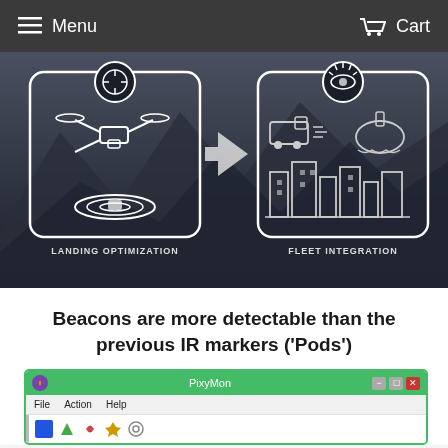Menu   Cart
[Figure (infographic): Infographic showing two capabilities: 'LANDING OPTIMIZATION' (a drone with targeting reticle landing on a pad) and 'FLEET INTEGRATION' (icons of a truck, ship, and cityscape with a sensor eye icon), connected by an arrow, set against a mountain background.]
Beacons are more detectable than the previous IR markers ('Pods')
[Figure (screenshot): Screenshot of PixyMon software application window showing titlebar with green header, menu bar with File, Action, Help, and toolbar with icons.]